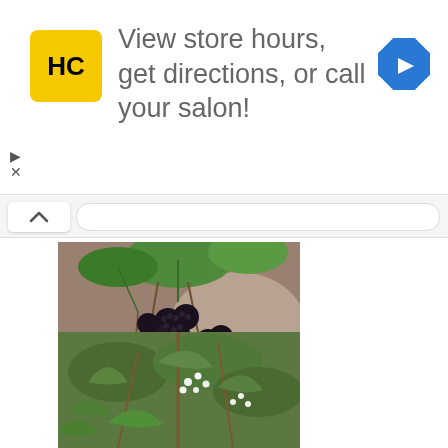[Figure (infographic): Advertisement banner with HC (Hair Club) yellow logo, text 'View store hours, get directions, or call your salon!' and blue navigation arrow icon. Small play and X controls on left side.]
[Figure (photo): Close-up photograph of blackberries on a vine, showing ripe black and unripe red berries against green leaves, with a blurred background.]
Facts about Elm Leaf Blackberry
[Figure (photo): Photograph of green leaves and small white flowers, likely showing an Elm Leaf Blackberry plant.]